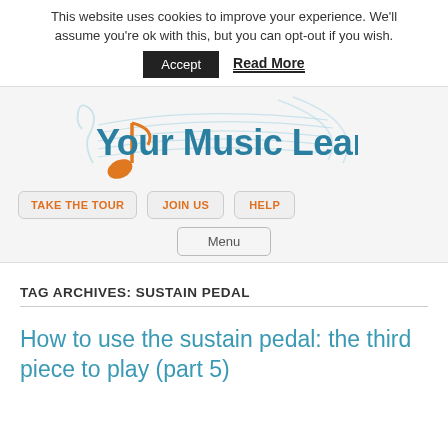This website uses cookies to improve your experience. We'll assume you're ok with this, but you can opt-out if you wish.
Accept  Read More
[Figure (logo): Your Music Learn logo with orange music note and staff lines graphic]
TAKE THE TOUR  JOIN US  HELP
Menu
TAG ARCHIVES: SUSTAIN PEDAL
How to use the sustain pedal: the third piece to play (part 5)